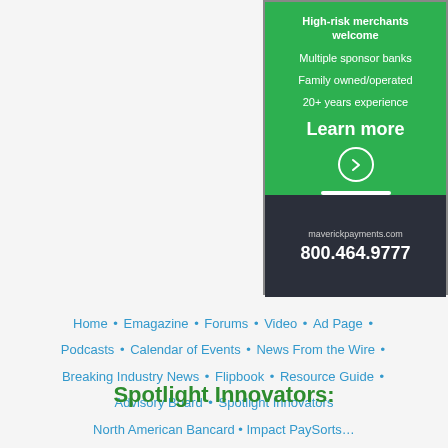[Figure (illustration): Advertisement for Maverick Payments. Green top section lists: High-risk merchants welcome, Multiple sponsor banks, Family owned/operated, 20+ years experience, Learn more with arrow button. Dark bottom section shows maverickpayments.com and phone number 800.464.9777.]
Home • Emagazine • Forums • Video • Ad Page • Podcasts • Calendar of Events • News From the Wire • Breaking Industry News • Flipbook • Resource Guide • Advisory Board • Spotlight Innovators
Spotlight Innovators:
North American Bancard • Impact PaySorts…